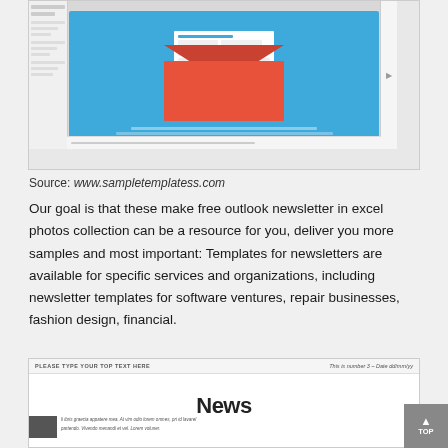[Figure (screenshot): Screenshot of an email newsletter template editor showing a blue background with a red/coral envelope graphic and a white letter/card coming out of it.]
Source: www.sampletemplatess.com
Our goal is that these make free outlook newsletter in excel photos collection can be a resource for you, deliver you more samples and most important: Templates for newsletters are available for specific services and organizations, including newsletter templates for software ventures, repair businesses, fashion design, financial.
[Figure (screenshot): Screenshot of a newsletter template with header 'PLEASE TYPE YOUR TOP TEXT HERE' and 'This is number 3 – Date dd/mm/yy', a bold 'News' heading, a dark image placeholder on the left, and Lorem Ipsum text on the right.]